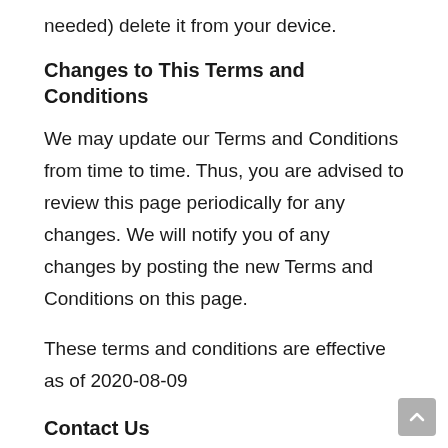needed) delete it from your device.
Changes to This Terms and Conditions
We may update our Terms and Conditions from time to time. Thus, you are advised to review this page periodically for any changes. We will notify you of any changes by posting the new Terms and Conditions on this page.
These terms and conditions are effective as of 2020-08-09
Contact Us